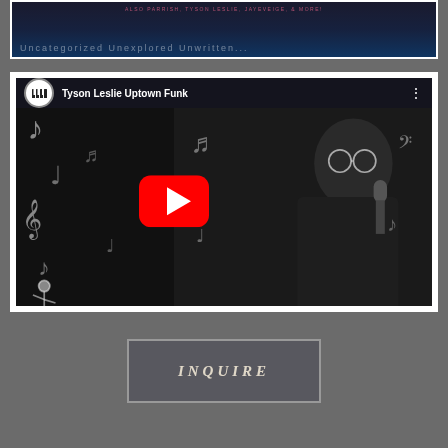[Figure (screenshot): Partial top strip of a website/video with dark background and small pink/red text reading 'ALSO PARRISH, TYSON LESLIE, JAYEVEIGE, & MORE!']
[Figure (screenshot): YouTube video embed showing 'Tyson Leslie Uptown Funk' with a red play button overlay, YouTube channel logo, person performing at microphone against dark background with music note decorations]
INQUIRE